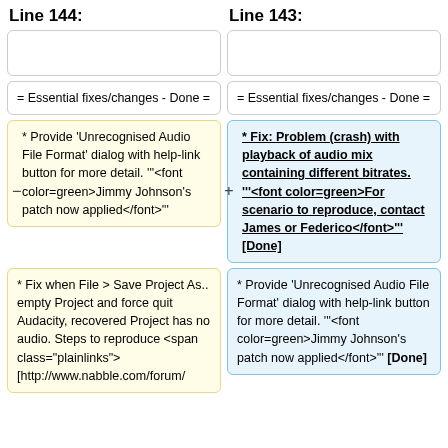Line 144:
Line 143:
= Essential fixes/changes - Done =
= Essential fixes/changes - Done =
* Provide 'Unrecognised Audio File Format' dialog with help-link button for more detail. '''<font color=green>Jimmy Johnson's patch now applied</font>'''
* Fix: Problem (crash) with playback of audio mix containing different bitrates. '''<font color=green>For scenario to reproduce, contact James or Federico</font>''' [Done]
* Fix when File > Save Project As.. empty Project and force quit  Audacity, recovered Project has no audio. Steps to reproduce <span class="plainlinks"> [http://www.nabble.com/forum/
* Provide 'Unrecognised Audio File Format' dialog with help-link button for more detail. '''<font color=green>Jimmy Johnson's patch now applied</font>''' [Done]